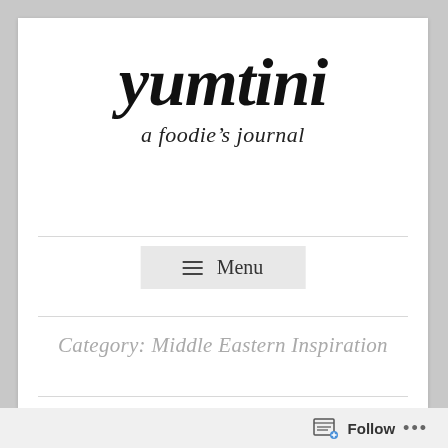yumtini
a foodie's journal
≡ Menu
Category: Middle Eastern Inspiration
Follow ...